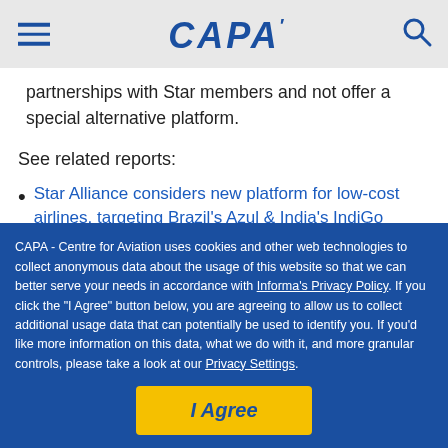CAPA
partnerships with Star members and not offer a special alternative platform.
See related reports:
Star Alliance considers new platform for low-cost airlines, targeting Brazil's Azul & India's IndiGo
SkyTeam plans new partnership platform to attract hybrid and LCC carriers in Brazil and India...
CAPA - Centre for Aviation uses cookies and other web technologies to collect anonymous data about the usage of this website so that we can better serve your needs in accordance with Informa's Privacy Policy. If you click the "I Agree" button below, you are agreeing to allow us to collect additional usage data that can potentially be used to identify you. If you'd like more information on this data, what we do with it, and more granular controls, please take a look at our Privacy Settings.